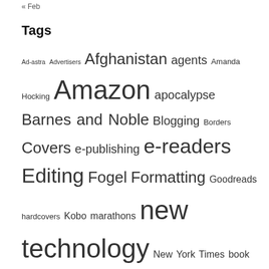« Feb
Tags
Ad-astra Advertisers Afghanistan agents Amanda Hocking Amazon apocalypse Barnes and Noble Blogging Borders Covers e-publishing e-readers Editing Fogel Formatting Goodreads hardcovers Kobo marathons new technology New York Times book review Old-style books paperbacks Praise publishing Reader Store Romance Self-promotion short stories Smashwords Sony E-reader. Nook Spam Speaking summer traveling Twitter Vampire Road Vampires vanity press Venus War writing Writing tools Zombies